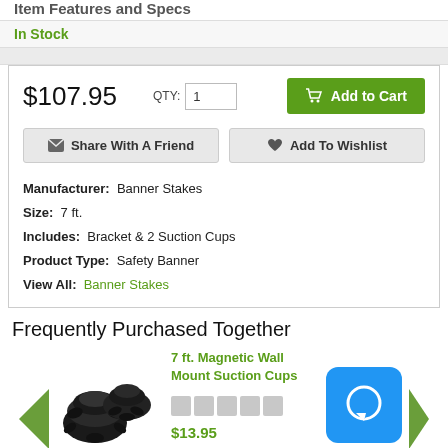Item Features and Specs
In Stock
$107.95  QTY: 1  Add to Cart
Share With A Friend  |  Add To Wishlist
Manufacturer: Banner Stakes
Size: 7 ft.
Includes: Bracket & 2 Suction Cups
Product Type: Safety Banner
View All: Banner Stakes
Frequently Purchased Together
7 ft. Magnetic Wall Mount Suction Cups
$13.95